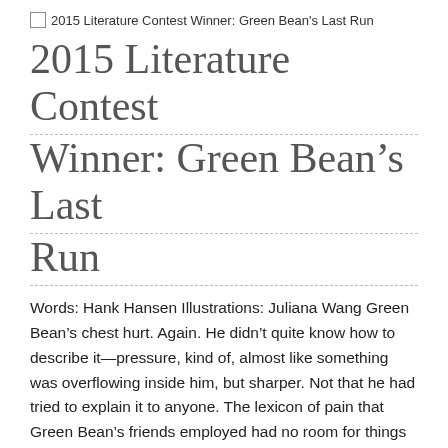[Figure (other): Broken image placeholder with alt text: 2015 Literature Contest Winner: Green Bean's Last Run]
2015 Literature Contest Winner: Green Bean’s Last Run
Words: Hank Hansen Illustrations: Juliana Wang Green Bean’s chest hurt. Again. He didn’t quite know how to describe it—pressure, kind of, almost like something was overflowing inside him, but sharper. Not that he had tried to explain it to anyone. The lexicon of pain that Green Bean’s friends employed had no room for things like “tension” …
[Figure (other): Broken image placeholder with alt text: Feature: Singletrack, Spiders and KFC]
Feature: Singletrack, Spiders